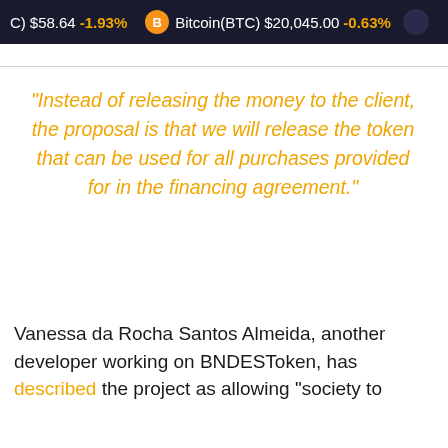C) $58.64 -1.93%   Bitcoin(BTC) $20,045.00 -0.63%
“Instead of releasing the money to the client, the proposal is that we will release the token that can be used for all purchases provided for in the financing agreement.”
Vanessa da Rocha Santos Almeida, another developer working on BNDESToken, has described the project as allowing “society to